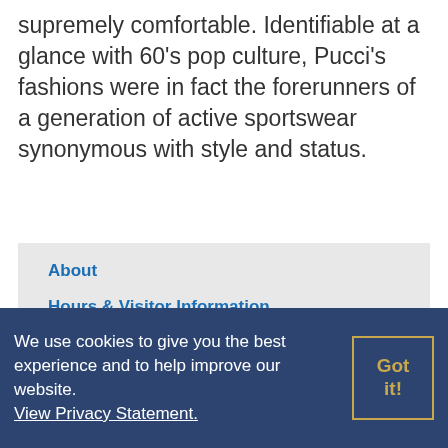supremely comfortable. Identifiable at a glance with 60's pop culture, Pucci's fashions were in fact the forerunners of a generation of active sportswear synonymous with style and status.
About
Hours & Visitor Information
Exhibits And Events
Collections
News
Support
We use cookies to give you the best experience and to help improve our website. View Privacy Statement.